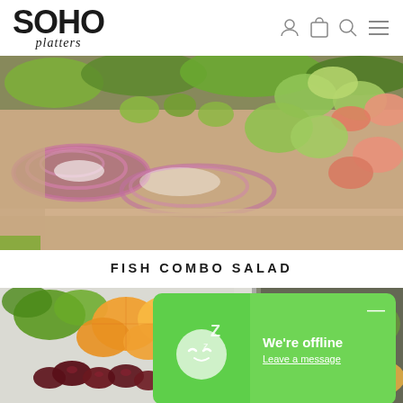SOHO platters
[Figure (photo): Close-up of a fish combo salad in a beige cardboard box with red onion rings, avocado slices, salmon pieces, and mixed greens]
FISH COMBO SALAD
[Figure (photo): Close-up of a fruit and vegetable platter with orange segments, dried cranberries, green capsicum, and leafy greens in a white box]
[Figure (screenshot): Green chat widget showing sleeping face emoji with Z letter and text: We're offline, Leave a message]